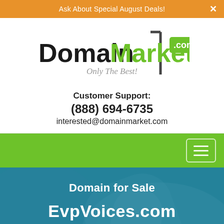Ask About Special August Deals!
[Figure (logo): DomainMarket.com logo with black bold 'Domain' text, green bold 'Market' text, green '.com' badge, and a sign post illustration]
Only The Best!
Customer Support:
(888) 694-6735
interested@domainmarket.com
[Figure (other): Green navigation bar with hamburger menu button (three horizontal lines in white bordered box) on the right]
Domain for Sale
EvpVoices.com
$2,888 USD